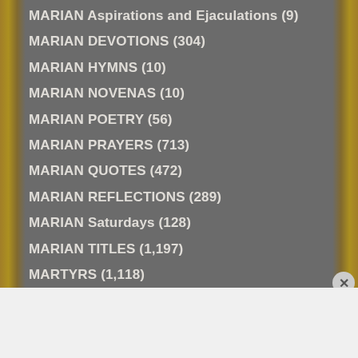MARIAN Aspirations and Ejaculations (9)
MARIAN DEVOTIONS (304)
MARIAN HYMNS (10)
MARIAN NOVENAS (10)
MARIAN POETRY (56)
MARIAN PRAYERS (713)
MARIAN QUOTES (472)
MARIAN REFLECTIONS (289)
MARIAN Saturdays (128)
MARIAN TITLES (1,197)
MARTYRS (1,118)
Advertisements